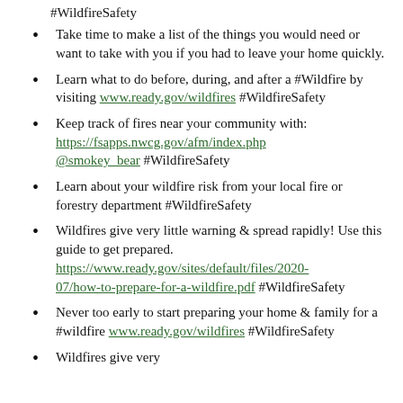#WildfireSafety
Take time to make a list of the things you would need or want to take with you if you had to leave your home quickly.
Learn what to do before, during, and after a #Wildfire by visiting www.ready.gov/wildfires #WildfireSafety
Keep track of fires near your community with: https://fsapps.nwcg.gov/afm/index.php @smokey_bear #WildfireSafety
Learn about your wildfire risk from your local fire or forestry department #WildfireSafety
Wildfires give very little warning & spread rapidly! Use this guide to get prepared. https://www.ready.gov/sites/default/files/2020-07/how-to-prepare-for-a-wildfire.pdf #WildfireSafety
Never too early to start preparing your home & family for a #wildfire www.ready.gov/wildfires #WildfireSafety
Wildfires give very...